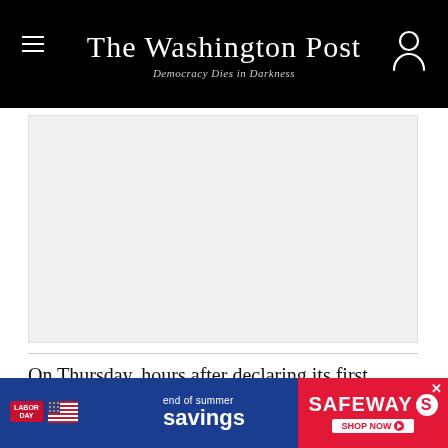The Washington Post — Democracy Dies in Darkness
[Figure (photo): Large image placeholder area (light gray), content not visible]
On Thursday, hours after declaring its first coronavirus outbreak, North Korea fired three short-range ballistic missiles off its east coast, according to the South
[Figure (other): Safeway advertisement banner: 'LABOR DAY end of summer savings — SAFEWAY SHOP NOW']